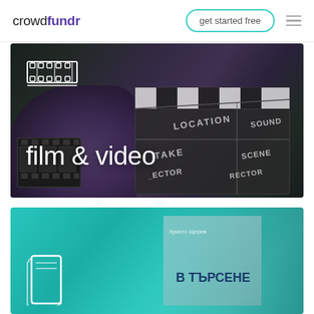crowdfundr — get started free
[Figure (photo): Film and video category banner showing a movie clapperboard and film reel on a dark wooden surface with the text 'film & video' and a film strip icon]
[Figure (photo): Books/publishing category banner with teal background showing a book cover with Cyrillic text 'В ТЪРСЕНЕ' and a book icon]